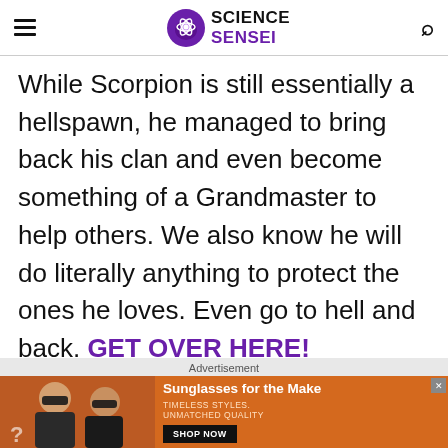SCIENCE SENSEI
While Scorpion is still essentially a hellspawn, he managed to bring back his clan and even become something of a Grandmaster to help others. We also know he will do literally anything to protect the ones he loves. Even go to hell and back. GET OVER HERE!
[Figure (photo): Advertisement banner showing two women wearing sunglasses with text 'Sunglasses for the Make, TIMELESS STYLES, UNMATCHED QUALITY' and SHOP NOW button]